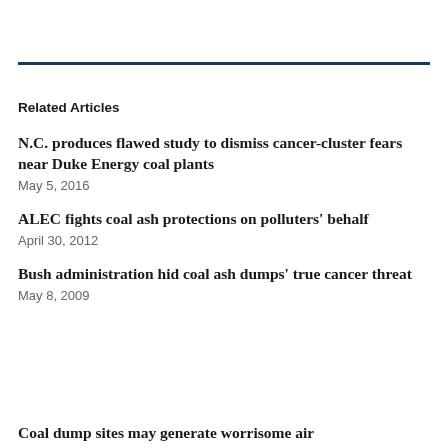Related Articles
N.C. produces flawed study to dismiss cancer-cluster fears near Duke Energy coal plants
May 5, 2016
ALEC fights coal ash protections on polluters' behalf
April 30, 2012
Bush administration hid coal ash dumps' true cancer threat
May 8, 2009
Coal dump sites may generate worrisome air